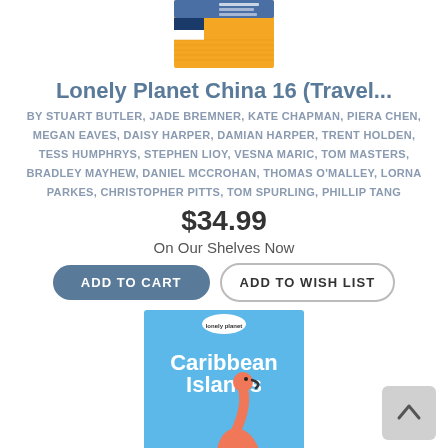[Figure (photo): Top portion of a Lonely Planet China 16 travel guide book cover with yellow/orange color]
Lonely Planet China 16 (Travel...
BY STUART BUTLER, JADE BREMNER, KATE CHAPMAN, PIERA CHEN, MEGAN EAVES, DAISY HARPER, DAMIAN HARPER, TRENT HOLDEN, TESS HUMPHRYS, STEPHEN LIOY, VESNA MARIC, TOM MASTERS, BRADLEY MAYHEW, DANIEL MCCROHAN, THOMAS O'MALLEY, LORNA PARKES, CHRISTOPHER PITTS, TOM SPURLING, PHILLIP TANG
$34.99
On Our Shelves Now
ADD TO CART
ADD TO WISH LIST
[Figure (photo): Lonely Planet Caribbean Islands travel guide book cover showing a pink flamingo standing on a sandy beach with turquoise water in the background]